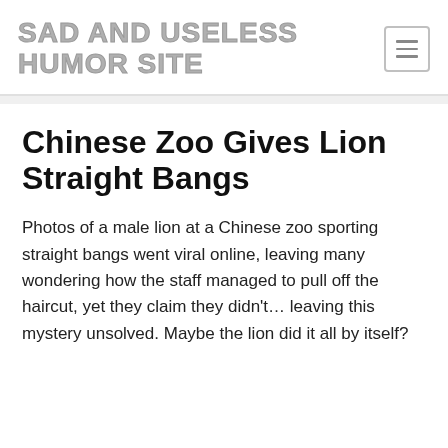SAD AND USELESS HUMOR SITE
Chinese Zoo Gives Lion Straight Bangs
Photos of a male lion at a Chinese zoo sporting straight bangs went viral online, leaving many wondering how the staff managed to pull off the haircut, yet they claim they didn’t… leaving this mystery unsolved. Maybe the lion did it all by itself?